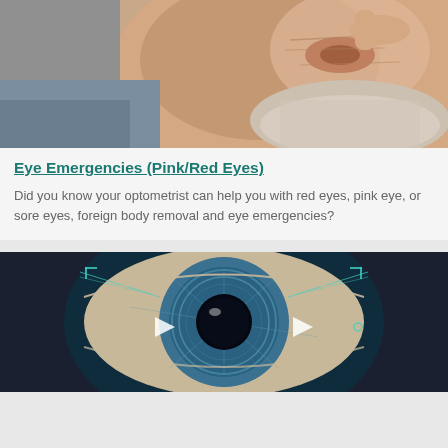[Figure (photo): Close-up photo of an elderly man touching his eye area, showing wrinkled skin and a grey beard, suggesting eye discomfort or examination]
Eye Emergencies (Pink/Red Eyes)
Did you know your optometrist can help you with red eyes, pink eye, or sore eyes, foreign body removal and eye emergencies?
[Figure (photo): Close-up futuristic illustration of a human eye with digital/technological overlay graphics, teal and blue tones, with play button controls visible]